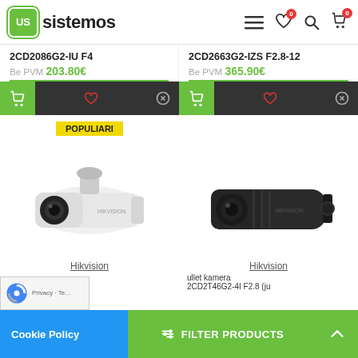[Figure (screenshot): US Sistemos e-commerce website header with logo, hamburger menu, wishlist (0), search, and cart (0) icons]
2CD2086G2-IU F4
Be PVM 203.80€
2CD2663G2-IZS F2.8-12
Be PVM 365.90€
POPULIARI
[Figure (photo): White Hikvision bullet security camera on white background]
[Figure (photo): Dark/black Hikvision bullet security camera on white background]
Hikvision
Hikvision
Cookie Policy
FILTER PRODUCTS
ullet kamera 2CD2T46G2-4I F2.8 (ju